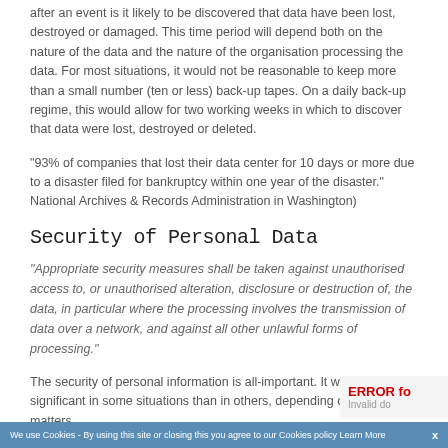after an event is it likely to be discovered that data have been lost, destroyed or damaged. This time period will depend both on the nature of the data and the nature of the organisation processing the data. For most situations, it would not be reasonable to keep more than a small number (ten or less) back-up tapes. On a daily back-up regime, this would allow for two working weeks in which to discover that data were lost, destroyed or deleted.
"93% of companies that lost their data center for 10 days or more due to a disaster filed for bankruptcy within one year of the disaster." National Archives & Records Administration in Washington)
Security of Personal Data
"Appropriate security measures shall be taken against unauthorised access to, or unauthorised alteration, disclosure or destruction of, the data, in particular where the processing involves the transmission of data over a network, and against all other unlawful forms of processing."
The security of personal information is all-important. It will be more significant in some situations than in others, depending on such matters nevertheless essential for all personal information. Furthermore
We use Cookies - By using this site or closing this you agree to our Cookies policy Learn More   x